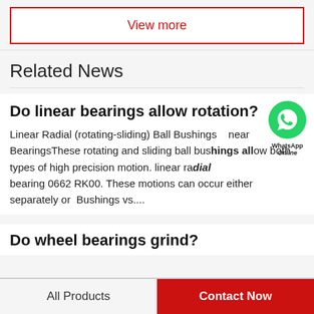View more
Related News
Do linear bearings allow rotation?
Linear Radial (rotating-sliding) Ball Bushings Linear BearingsThese rotating and sliding ball bushings allow both types of high precision motion. linear radial bearing 0662 RK00. These motions can occur either separately or  Bushings vs....
[Figure (logo): WhatsApp green circle icon with phone handset, labeled 'WhatsApp' and 'Online']
Do wheel bearings grind?
All Products | Contact Now